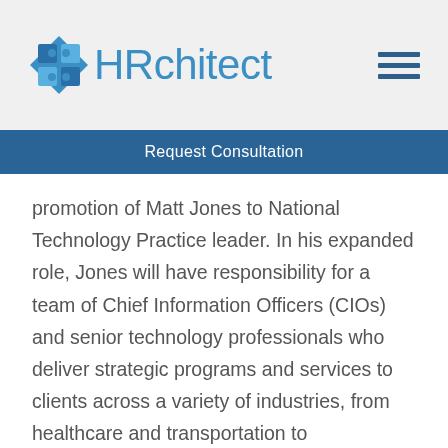[Figure (logo): HRchitect logo with blue diamond puzzle-piece icon and blue wordmark, plus hamburger menu icon on the right]
Request Consultation
promotion of Matt Jones to National Technology Practice leader. In his expanded role, Jones will have responsibility for a team of Chief Information Officers (CIOs) and senior technology professionals who deliver strategic programs and services to clients across a variety of industries, from healthcare and transportation to manufacturing and government contracting.
“Since he joined Tatum, Matt has continuously sought out new opportunities